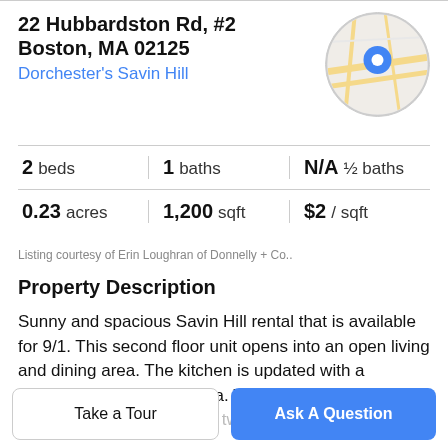22 Hubbardston Rd, #2
Boston, MA 02125
Dorchester's Savin Hill
[Figure (map): Circular map thumbnail showing street map with a blue location pin marker]
| beds | baths | ½ baths | acres | sqft | / sqft |
| --- | --- | --- | --- | --- | --- |
| 2 beds | 1 baths | N/A ½ baths | 0.23 acres | 1,200 sqft | $2 / sqft |
Listing courtesy of Erin Loughran of Donnelly + Co..
Property Description
Sunny and spacious Savin Hill rental that is available for 9/1. This second floor unit opens into an open living and dining area. The kitchen is updated with a generous sized pantry area. The unit offers hardwood floors throughout and central A/C. There are two bedrooms, plus a den and